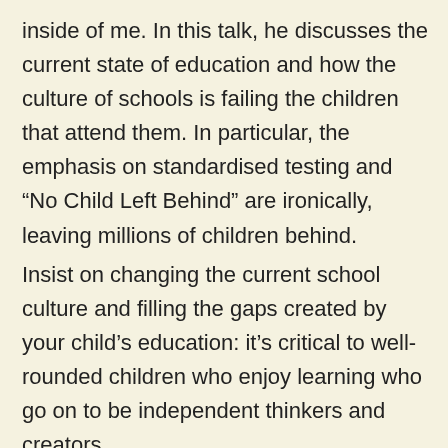inside of me. In this talk, he discusses the current state of education and how the culture of schools is failing the children that attend them. In particular, the emphasis on standardised testing and “No Child Left Behind” are ironically, leaving millions of children behind.
Insist on changing the current school culture and filling the gaps created by your child’s education: it’s critical to well-rounded children who enjoy learning who go on to be independent thinkers and creators.